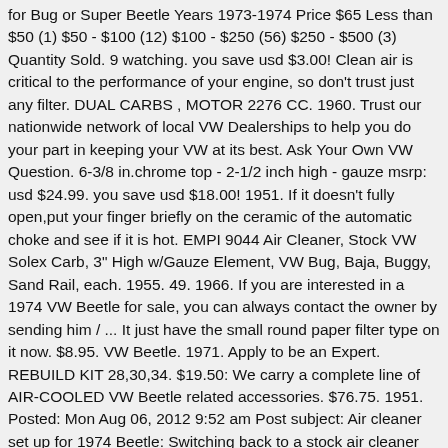for Bug or Super Beetle Years 1973-1974 Price $65 Less than $50 (1) $50 - $100 (12) $100 - $250 (56) $250 - $500 (3) Quantity Sold. 9 watching. you save usd $3.00! Clean air is critical to the performance of your engine, so don't trust just any filter. DUAL CARBS , MOTOR 2276 CC. 1960. Trust our nationwide network of local VW Dealerships to help you do your part in keeping your VW at its best. Ask Your Own VW Question. 6-3/8 in.chrome top - 2-1/2 inch high - gauze msrp: usd $24.99. you save usd $18.00! 1951. If it doesn't fully open,put your finger briefly on the ceramic of the automatic choke and see if it is hot. EMPI 9044 Air Cleaner, Stock VW Solex Carb, 3" High w/Gauze Element, VW Bug, Baja, Buggy, Sand Rail, each. 1955. 49. 1966. If you are interested in a 1974 VW Beetle for sale, you can always contact the owner by sending him / ... It just have the small round paper filter type on it now. $8.95. VW Beetle. 1971. Apply to be an Expert. REBUILD KIT 28,30,34. $19.50: We carry a complete line of AIR-COOLED VW Beetle related accessories. $76.75. 1951. Posted: Mon Aug 06, 2012 9:52 am Post subject: Air cleaner set up for 1974 Beetle: Switching back to a stock air cleaner (large, plastic...